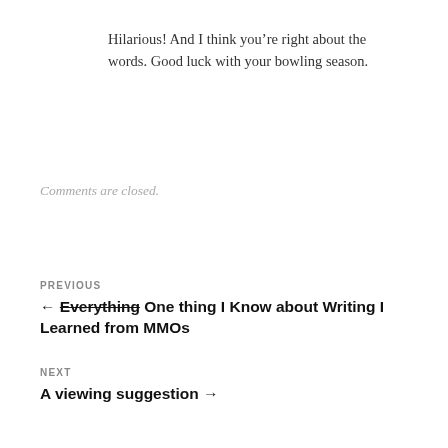Hilarious! And I think you're right about the words. Good luck with your bowling season.
Comments are closed.
PREVIOUS
← Everything One thing I Know about Writing I Learned from MMOs
NEXT
A viewing suggestion →